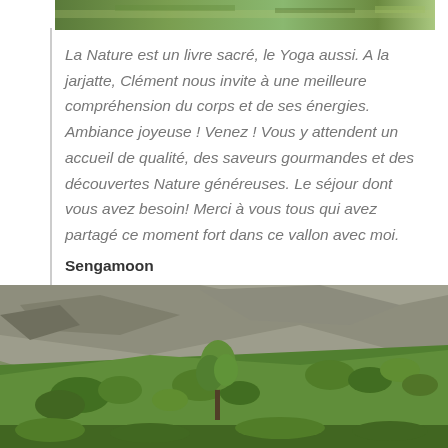[Figure (photo): Partial top image showing green nature/landscape, cropped at top of page]
La Nature est un livre sacré, le Yoga aussi. A la jarjatte, Clément nous invite à une meilleure compréhension du corps et de ses énergies. Ambiance joyeuse ! Venez ! Vous y attendent un accueil de qualité, des saveurs gourmandes et des découvertes Nature généreuses. Le séjour dont vous avez besoin! Merci à vous tous qui avez partagé ce moment fort dans ce vallon avec moi.
Sengamoon
[Figure (photo): Nature landscape photo showing rocky hillside with green shrubs, grasses and small trees]